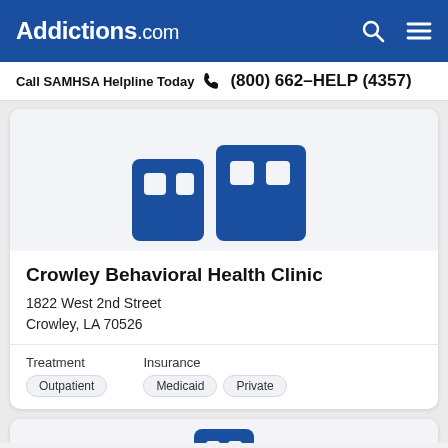Addictions.com
Call SAMHSA Helpline Today  (800) 662-HELP (4357)
[Figure (logo): Addictions.com logo icon - blue building/facility graphic on light background]
Crowley Behavioral Health Clinic
1822 West 2nd Street
Crowley, LA 70526
Treatment
Outpatient
Insurance
Medicaid   Private
[Figure (logo): Partial view of second facility card with blue icon at bottom of page]